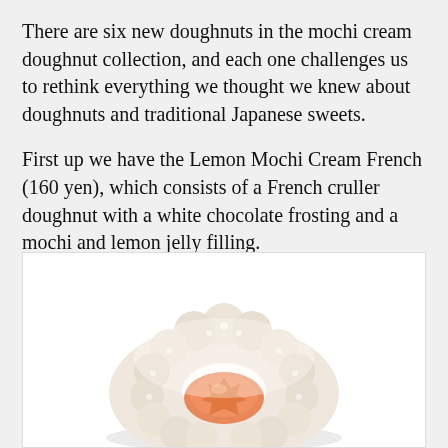There are six new doughnuts in the mochi cream doughnut collection, and each one challenges us to rethink everything we thought we knew about doughnuts and traditional Japanese sweets.
First up we have the Lemon Mochi Cream French (160 yen), which consists of a French cruller doughnut with a white chocolate frosting and a mochi and lemon jelly filling.
[Figure (photo): A Lemon Mochi Cream French doughnut — a ring-shaped French cruller with a bumpy, sugar-dusted white exterior and an orange/coral lemon jelly filling visible in the center hole, photographed on a white background.]